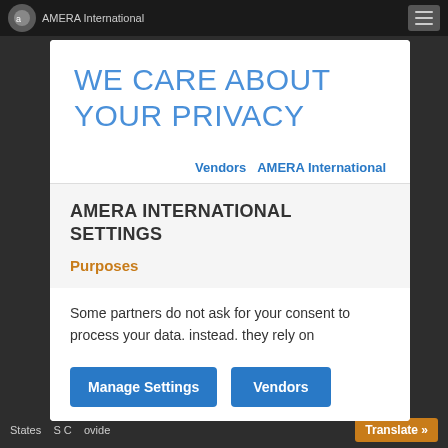AMERA International
WE CARE ABOUT YOUR PRIVACY
Vendors   AMERA International
AMERA INTERNATIONAL SETTINGS
Purposes
Some partners do not ask for your consent to process your data. instead. they rely on
Manage Settings   Vendors
States   S C   ovide   Translate »